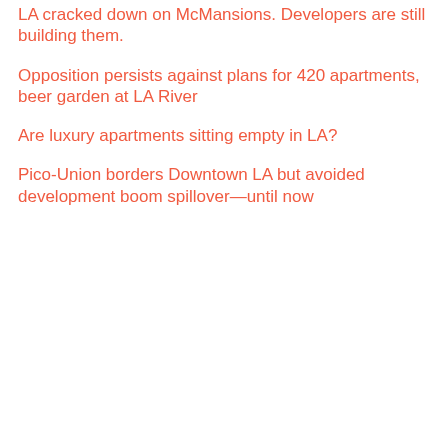LA cracked down on McMansions. Developers are still building them.
Opposition persists against plans for 420 apartments, beer garden at LA River
Are luxury apartments sitting empty in LA?
Pico-Union borders Downtown LA but avoided development boom spillover—until now